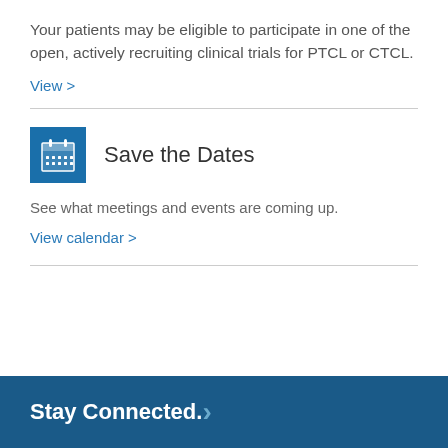Your patients may be eligible to participate in one of the open, actively recruiting clinical trials for PTCL or CTCL.
View >
Save the Dates
See what meetings and events are coming up.
View calendar >
Stay Connected.